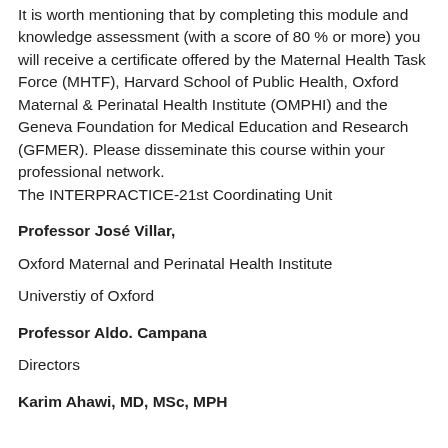It is worth mentioning that by completing this module and knowledge assessment (with a score of 80 % or more) you will receive a certificate offered by the Maternal Health Task Force (MHTF), Harvard School of Public Health, Oxford Maternal & Perinatal Health Institute (OMPHI) and the Geneva Foundation for Medical Education and Research (GFMER). Please disseminate this course within your professional network.
The INTERPRACTICE-21st Coordinating Unit
Professor José Villar,
Oxford Maternal and Perinatal Health Institute
Universtiy of Oxford
Professor Aldo. Campana
Directors
Karim Ahawi, MD, MSc, MPH